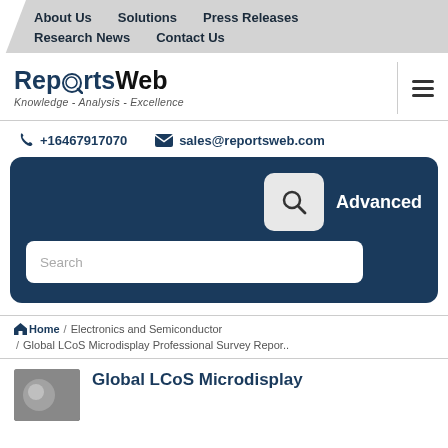About Us   Solutions   Press Releases   Research News   Contact Us
[Figure (logo): ReportsWeb logo with magnifying glass icon and tagline 'Knowledge - Analysis - Excellence']
+16467917070   sales@reportsweb.com
[Figure (screenshot): Dark blue search box with search icon, 'Advanced' label, and search input field with placeholder 'Search']
Home / Electronics and Semiconductor / Global LCoS Microdisplay Professional Survey Repor..
Global LCoS Microdisplay